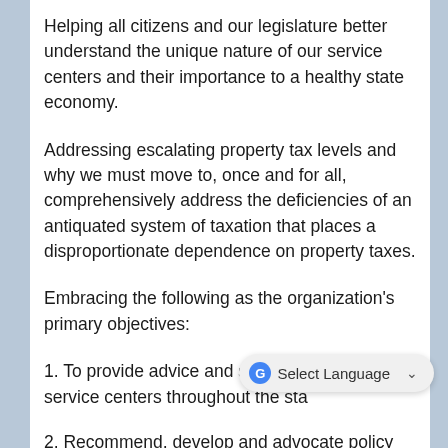Helping all citizens and our legislature better understand the unique nature of our service centers and their importance to a healthy state economy.
Addressing escalating property tax levels and why we must move to, once and for all, comprehensively address the deficiencies of an antiquated system of taxation that places a disproportionate dependence on property taxes.
Embracing the following as the organization's primary objectives:
1. To provide advice and support to Maine's service centers throughout the state.
2. Recommend, develop and advocate policy positions to the legislature and to the Maine...